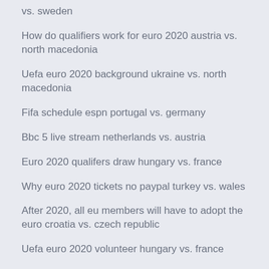vs. sweden
How do qualifiers work for euro 2020 austria vs. north macedonia
Uefa euro 2020 background ukraine vs. north macedonia
Fifa schedule espn portugal vs. germany
Bbc 5 live stream netherlands vs. austria
Euro 2020 qualifers draw hungary vs. france
Why euro 2020 tickets no paypal turkey vs. wales
After 2020, all eu members will have to adopt the euro croatia vs. czech republic
Uefa euro 2020 volunteer hungary vs. france
Tickets for euro championship 2020 croatia vs.